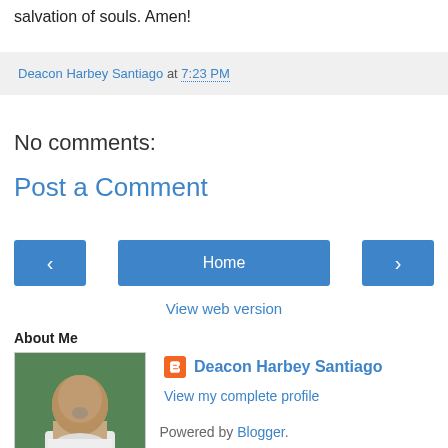salvation of souls. Amen!
Deacon Harbey Santiago at 7:23 PM
No comments:
Post a Comment
Home
View web version
About Me
[Figure (photo): Profile photo of Deacon Harbey Santiago]
Deacon Harbey Santiago
View my complete profile
Powered by Blogger.